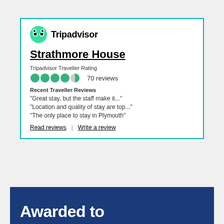[Figure (logo): TripAdvisor widget showing Strathmore House listing with owl logo, 4.5 star rating (70 reviews), recent traveller reviews, and links to read/write reviews]
[Figure (infographic): Gohotels.com Outstanding Service Award 2017 presented to Strathmore House Apartments]
[Figure (infographic): Blue award banner with text 'Awarded to' in white on dark blue background]